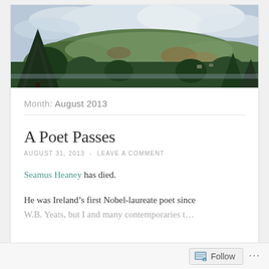[Figure (photo): Landscape photo showing a forested hillside with trees in autumn colors, a lake or river in the foreground, and a cloudy sky above. A large evergreen tree is visible on the left side.]
Month: August 2013
A Poet Passes
AUGUST 31, 2013  -  LEAVE A COMMENT
Seamus Heaney has died.
He was Ireland's first Nobel-laureate poet since W.B. Yeats, but I and many contemporaries t…